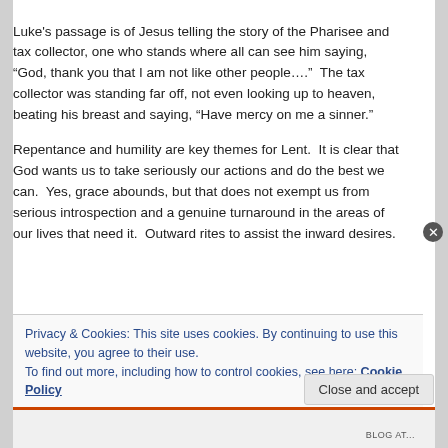Luke's passage is of Jesus telling the story of the Pharisee and tax collector, one who stands where all can see him saying, “God, thank you that I am not like other people….”  The tax collector was standing far off, not even looking up to heaven, beating his breast and saying, “Have mercy on me a sinner.”
Repentance and humility are key themes for Lent.  It is clear that God wants us to take seriously our actions and do the best we can.  Yes, grace abounds, but that does not exempt us from serious introspection and a genuine turnaround in the areas of our lives that need it.  Outward rites to assist the inward desires.
Privacy & Cookies: This site uses cookies. By continuing to use this website, you agree to their use.
To find out more, including how to control cookies, see here: Cookie Policy
Close and accept